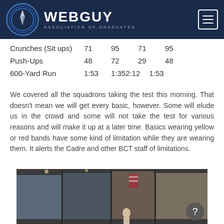WEBGUY ASSOCIATION OF GRADUATES
| Crunches (Sit ups) | 71 | 95 | 71 | 95 |
| Push-Ups | 48 | 72 | 29 | 48 |
| 600-Yard Run | 1:53 | 1:352:12 | 1:53 |
We covered all the squadrons taking the test this morning. That doesn't mean we will get every basic, however. Some will elude us in the crowd and some will not take the test for various reasons and will make it up at a later time. Basics wearing yellow or red bands have some kind of limitation while they are wearing them. It alerts the Cadre and other BCT staff of limitations.
[Figure (photo): Indoor display wall with large military-themed mural panels; a person visible in the foreground.]